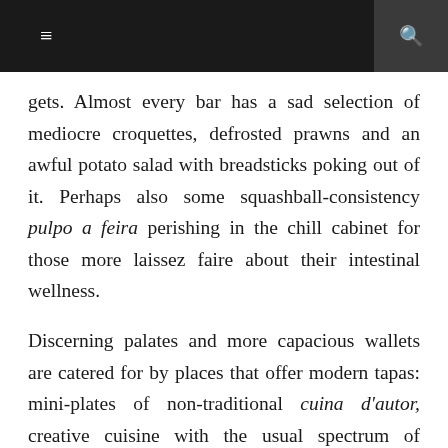≡  🔍
gets. Almost every bar has a sad selection of mediocre croquettes, defrosted prawns and an awful potato salad with breadsticks poking out of it. Perhaps also some squashball-consistency pulpo a feira perishing in the chill cabinet for those more laissez faire about their intestinal wellness.
Discerning palates and more capacious wallets are catered for by places that offer modern tapas: mini-plates of non-traditional cuina d'autor, creative cuisine with the usual spectrum of success in the implementation. There are also unique institutions like 'Quimet i Quimet' (C/ Poeta Cabanyes, 25) where you can elbow yourself some